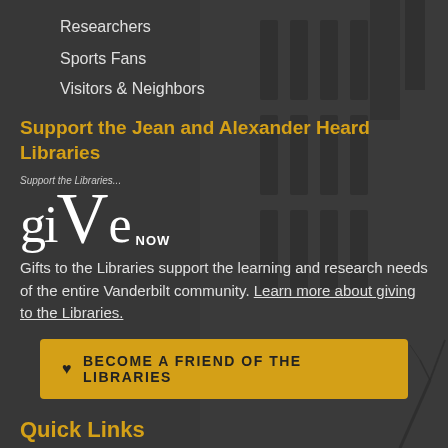Researchers
Sports Fans
Visitors & Neighbors
Support the Jean and Alexander Heard Libraries
[Figure (logo): Give Now logo with text 'Support the Libraries...' above stylized 'giVe NOW' text in white serif font]
Gifts to the Libraries support the learning and research needs of the entire Vanderbilt community. Learn more about giving to the Libraries.
BECOME A FRIEND OF THE LIBRARIES
Quick Links
Hours